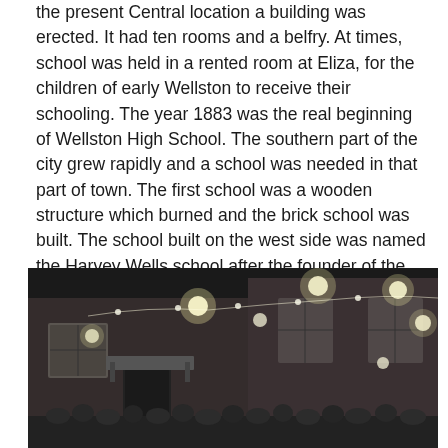the present Central location a building was erected. It had ten rooms and a belfry. At times, school was held in a rented room at Eliza, for the children of early Wellston to receive their schooling. The year 1883 was the real beginning of Wellston High School. The southern part of the city grew rapidly and a school was needed in that part of town. The first school was a wooden structure which burned and the brick school was built. The school built on the west side was named the Harvey Wells school after the founder of the town.
[Figure (photo): Black and white nighttime photograph of a brick school building exterior with lights and a crowd of people gathered outside.]